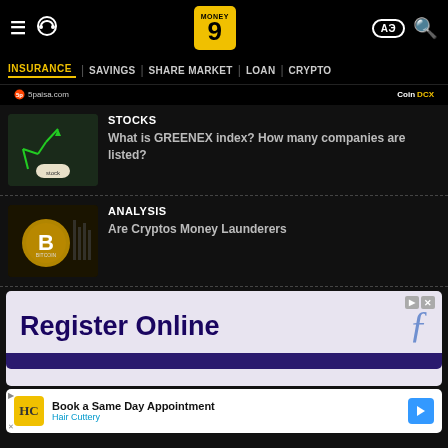Money9 — INSURANCE | SAVINGS | SHARE MARKET | LOAN | CRYPTO
STOCKS — What is GREENEX index? How many companies are listed?
ANALYSIS — Are Cryptos Money Launderers
[Figure (screenshot): Advertisement: Register Online with stylized script logo]
[Figure (screenshot): Advertisement: Book a Same Day Appointment — Hair Cuttery]